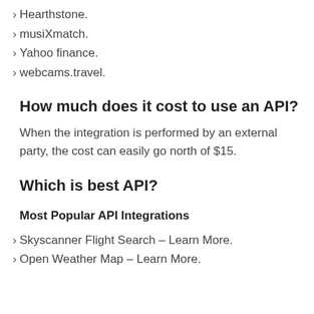Hearthstone.
musiXmatch.
Yahoo finance.
webcams.travel.
How much does it cost to use an API?
When the integration is performed by an external party, the cost can easily go north of $15.
Which is best API?
Most Popular API Integrations
Skyscanner Flight Search – Learn More.
Open Weather Map – Learn More.